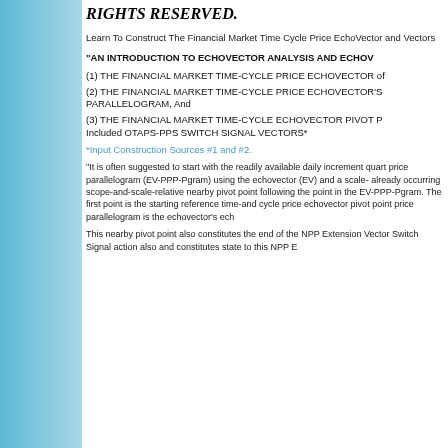RIGHTS RESERVED.
Learn To Construct The Financial Market Time Cycle Price EchoVector and Vectors
"AN INTRODUCTION TO ECHOVECTOR ANALYSIS AND ECHOV
(1) THE FINANCIAL MARKET TIME-CYCLE PRICE ECHOVECTOR of
(2) THE FINANCIAL MARKET TIME-CYCLE PRICE ECHOVECTOR'S PARALLELOGRAM, And
(3) THE FINANCIAL MARKET TIME-CYCLE ECHOVECTOR PIVOT P Included OTAPS-PPS SWITCH SIGNAL VECTORS*
*Input Construction Sources #1 and #2.
"It is often suggested to start with the readily available daily increment quart price parallelogram (EV-PPP-Pgram) using the echovector (EV) and a scale- already occurring scope-and-scale-relative nearby pivot point following the point in the EV-PPP-Pgram. The first point is the starting reference time-and cycle price echovector pivot point price parallelogram is the echovector's ech
This nearby pivot point also constitutes the end of the NPP Extension Vector Switch Signal action also and constitutes state to this NPP E